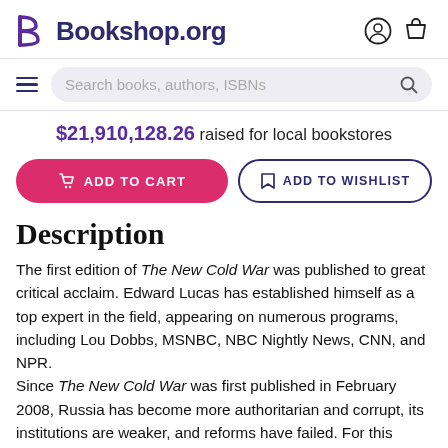Bookshop.org
$21,910,128.26 raised for local bookstores
ADD TO CART | ADD TO WISHLIST
Description
The first edition of The New Cold War was published to great critical acclaim. Edward Lucas has established himself as a top expert in the field, appearing on numerous programs, including Lou Dobbs, MSNBC, NBC Nightly News, CNN, and NPR. Since The New Cold War was first published in February 2008, Russia has become more authoritarian and corrupt, its institutions are weaker, and reforms have failed. For this reason, he has updated this edition to...